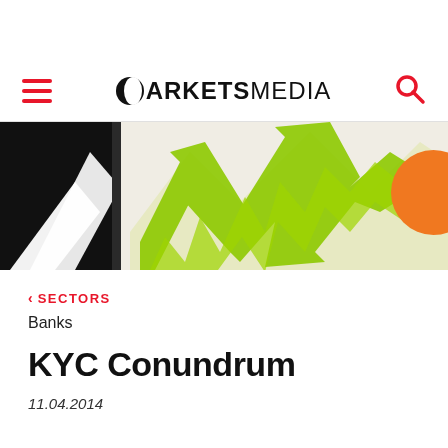MARKETSMEDIA
[Figure (illustration): Banner image with black left panel containing white chevron/triangle shape, a thin black vertical divider, a green zigzag upward arrow chart graphic on cream background, and a partially visible orange circle on the right edge.]
< SECTORS
Banks
KYC Conundrum
11.04.2014